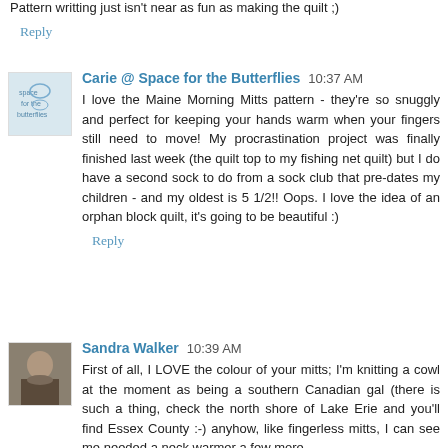Pattern writting just isn't near as fun as making the quilt ;)
Reply
Carie @ Space for the Butterflies  10:37 AM
I love the Maine Morning Mitts pattern - they're so snuggly and perfect for keeping your hands warm when your fingers still need to move! My procrastination project was finally finished last week (the quilt top to my fishing net quilt) but I do have a second sock to do from a sock club that pre-dates my children - and my oldest is 5 1/2!! Oops. I love the idea of an orphan block quilt, it's going to be beautiful :)
Reply
Sandra Walker  10:39 AM
First of all, I LOVE the colour of your mitts; I'm knitting a cowl at the moment as being a southern Canadian gal (there is such a thing, check the north shore of Lake Erie and you'll find Essex County :-) anyhow, like fingerless mitts, I can see me needed a neck warmer a few more